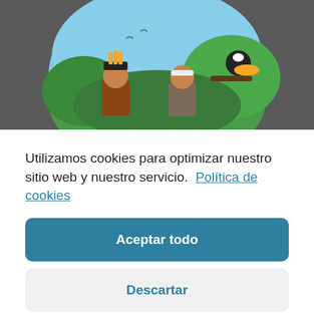[Figure (illustration): Illustrated circular image showing two indigenous people in traditional headdresses with a toucan perched on a branch, jungle background with blue sky]
Utilizamos cookies para optimizar nuestro sitio web y nuestro servicio.  Política de cookies
Aceptar todo
Descartar
Preferencias